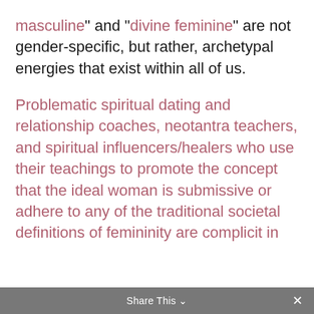masculine" and "divine feminine" are not gender-specific, but rather, archetypal energies that exist within all of us.
Problematic spiritual dating and relationship coaches, neotantra teachers, and spiritual influencers/healers who use their teachings to promote the concept that the ideal woman is submissive or adhere to any of the traditional societal definitions of femininity are complicit in
Share This ×